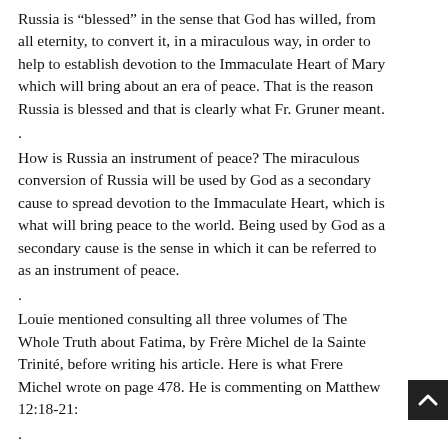Russia is “blessed” in the sense that God has willed, from all eternity, to convert it, in a miraculous way, in order to help to establish devotion to the Immaculate Heart of Mary which will bring about an era of peace. That is the reason Russia is blessed and that is clearly what Fr. Gruner meant.
.
How is Russia an instrument of peace? The miraculous conversion of Russia will be used by God as a secondary cause to spread devotion to the Immaculate Heart, which is what will bring peace to the world. Being used by God as a secondary cause is the sense in which it can be referred to as an instrument of peace.
.
Louie mentioned consulting all three volumes of The Whole Truth about Fatima, by Frère Michel de la Sainte Trinité, before writing his article. Here is what Frere Michel wrote on page 478. He is commenting on Matthew 12:18-21:
.